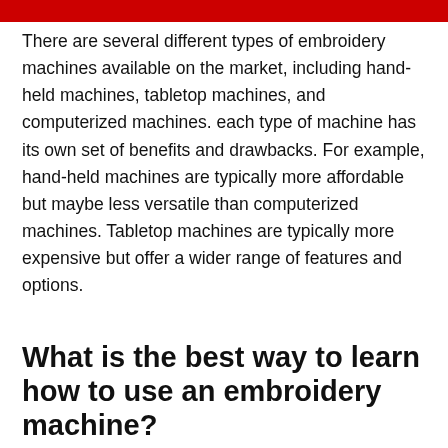There are several different types of embroidery machines available on the market, including hand-held machines, tabletop machines, and computerized machines. each type of machine has its own set of benefits and drawbacks. For example, hand-held machines are typically more affordable but maybe less versatile than computerized machines. Tabletop machines are typically more expensive but offer a wider range of features and options.
What is the best way to learn how to use an embroidery machine?